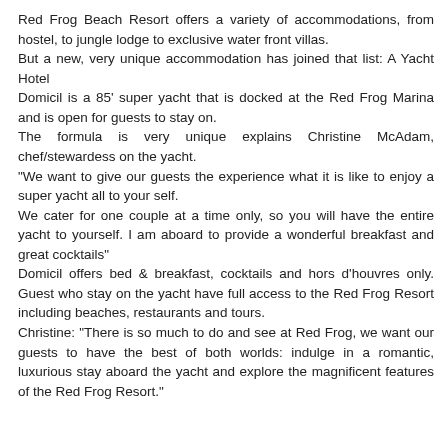Red Frog Beach Resort offers a variety of accommodations, from hostel, to jungle lodge to exclusive water front villas.
But a new, very unique accommodation has joined that list: A Yacht Hotel
Domicil is a 85' super yacht that is docked at the Red Frog Marina and is open for guests to stay on.
The formula is very unique explains Christine McAdam, chef/stewardess on the yacht.
"We want to give our guests the experience what it is like to enjoy a super yacht all to your self.
We cater for one couple at a time only, so you will have the entire yacht to yourself. I am aboard to provide a wonderful breakfast and great cocktails"
Domicil offers bed & breakfast, cocktails and hors d'houvres only. Guest who stay on the yacht have full access to the Red Frog Resort including beaches, restaurants and tours.
Christine: "There is so much to do and see at Red Frog, we want our guests to have the best of both worlds: indulge in a romantic, luxurious stay aboard the yacht and explore the magnificent features of the Red Frog Resort."